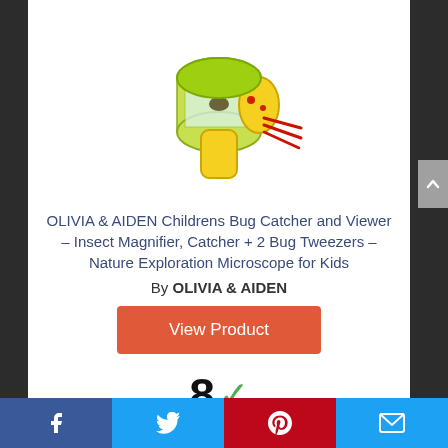[Figure (photo): Bug catcher toy product image — a green and yellow handheld insect catcher/magnifier with red tweezers]
OLIVIA & AIDEN Childrens Bug Catcher and Viewer – Insect Magnifier, Catcher + 2 Bug Tweezers – Nature Exploration Microscope for Kids
By OLIVIA & AIDEN
View Product
8 ✓
Score